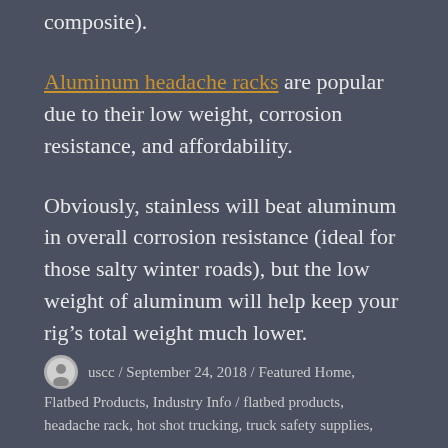composite).
Aluminum headache racks are popular due to their low weight, corrosion resistance, and affordability.
Obviously, stainless will beat aluminum in overall corrosion resistance (ideal for those salty winter roads), but the low weight of aluminum will help keep your rig’s total weight much lower.
uscc / September 24, 2018 / Featured Home, Flatbed Products, Industry Info / flatbed products, headache rack, hot shot trucking, truck safety supplies,